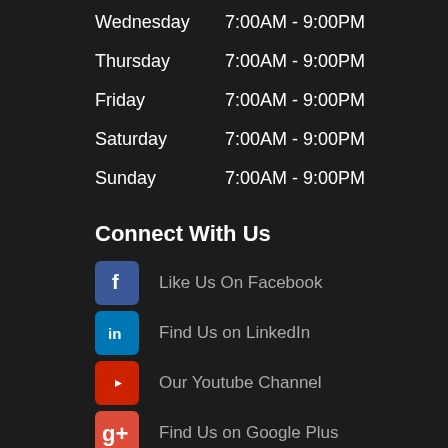Wednesday   7:00AM - 9:00PM
Thursday   7:00AM - 9:00PM
Friday   7:00AM - 9:00PM
Saturday   7:00AM - 9:00PM
Sunday   7:00AM - 9:00PM
Connect With Us
Like Us On Facebook
Find Us on LinkedIn
Our Youtube Channel
Find Us on Google Plus